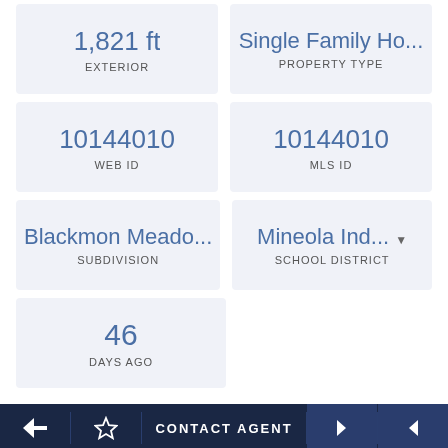| Field | Value |
| --- | --- |
| 1,821 ft / EXTERIOR | Single Family Ho... / PROPERTY TYPE |
| 10144010 / WEB ID | 10144010 / MLS ID |
| Blackmon Meado... / SUBDIVISION | Mineola Ind... / SCHOOL DISTRICT |
| 46 / DAYS AGO |  |
About 105 S Lainey Lane
Blackmon Meadows located in Mineola, TX is now offering new floor plans on spacious lots! If you've been considering upgrading